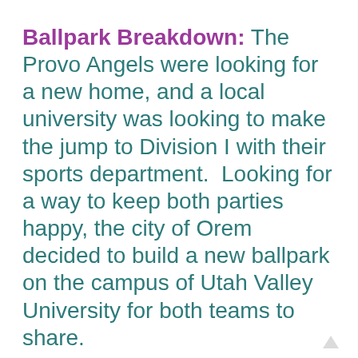Ballpark Breakdown: The Provo Angels were looking for a new home, and a local university was looking to make the jump to Division I with their sports department.  Looking for a way to keep both parties happy, the city of Orem decided to build a new ballpark on the campus of Utah Valley University for both teams to share.
When the park opened March 24, 2005, the intention was to call it Parkway Crossing Stadium after an apartment complex that agreed to pay for the naming rights.  When the complex failed to pay up, the Owlz started calling it simply "The Home of the Owlz"; meanwhile the university continued to use the Parkway Crossing name.  Confused yet?  That is when local auto dealer Brent Brown and his wife Kim